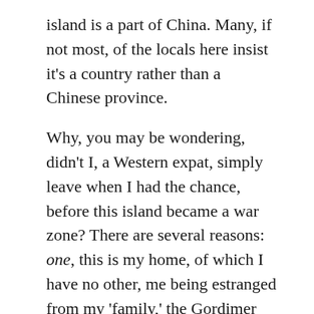island is a part of China. Many, if not most, of the locals here insist it's a country rather than a Chinese province.
Why, you may be wondering, didn't I, a Western expat, simply leave when I had the chance, before this island became a war zone? There are several reasons: one, this is my home, of which I have no other, me being estranged from my 'family,' the Gordimer family, owners of Sakia, a weapons manufacturing company. As a pacifist, I have no need of any other reason to disown that family, though I have many others, as I will go into later on.
Two, my skill set as an English teacher is very limited. What am I going to do for work in my predominantly English-speaking country, where so many others are